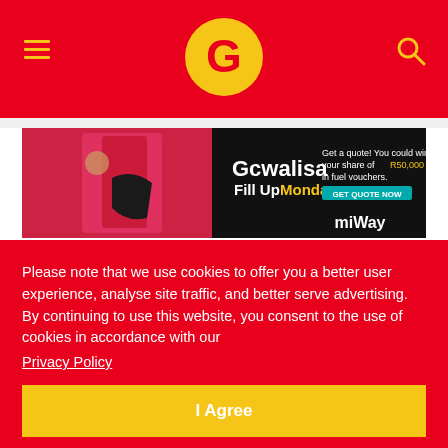Gcwalisa Fill Up Mondays – MiWay advertisement; navigation bar with hamburger menu, G logo, and search icon
[Figure (screenshot): MiWay Gcwalisa Fill Up Mondays advertisement banner showing a fuel pump nozzle and promotional text]
Petrolheads.com – Pumper becomes into Wild…
DEC 18, 2020  242  1
Please note that we use cookies to offer you a better user experience, analyse site traffic, and better serve advertising. By continuing to use this website, you consent to the use of cookies in accordance with our Privacy Policy
[Figure (photo): Partial photo visible at the bottom of the page, likely wildlife or automotive related]